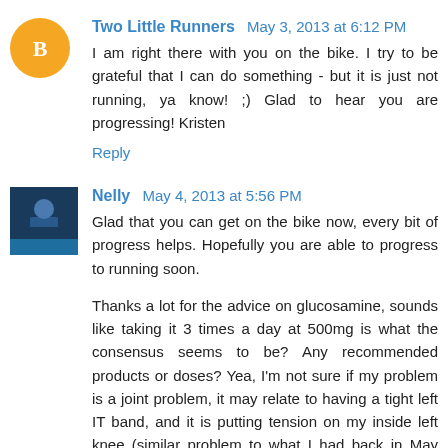Two Little Runners May 3, 2013 at 6:12 PM
I am right there with you on the bike. I try to be grateful that I can do something - but it is just not running, ya know! ;) Glad to hear you are progressing! Kristen
Reply
Nelly May 4, 2013 at 5:56 PM
Glad that you can get on the bike now, every bit of progress helps. Hopefully you are able to progress to running soon.
Thanks a lot for the advice on glucosamine, sounds like taking it 3 times a day at 500mg is what the consensus seems to be? Any recommended products or doses? Yea, I'm not sure if my problem is a joint problem, it may relate to having a tight left IT band, and it is putting tension on my inside left knee (similar problem to what I had back in May 2011). So maybe a combination of glucosamine, ART and PT can help me.